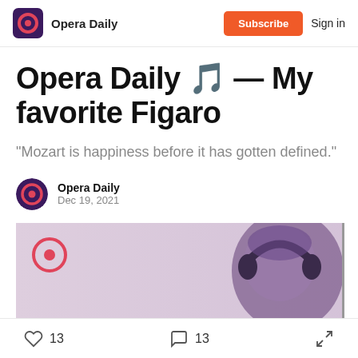Opera Daily | Subscribe | Sign in
Opera Daily 🎵 — My favorite Figaro
“Mozart is happiness before it has gotten defined.”
Opera Daily
Dec 19, 2021
[Figure (photo): Article header image showing a person with purple/dark hair wearing headphones, with the Opera Daily logo (red circle O) on a light pink/lavender background]
13 likes  13 comments  share